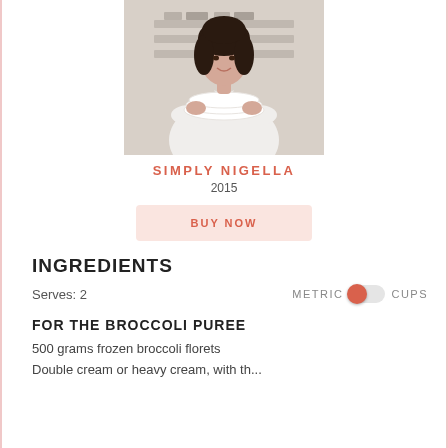[Figure (photo): Woman in white shirt holding white bowls/dishes, standing in a kitchen with shelves behind her. Book cover style photo for Simply Nigella.]
SIMPLY NIGELLA
2015
BUY NOW
INGREDIENTS
Serves: 2
METRIC   CUPS
FOR THE BROCCOLI PUREE
500 grams frozen broccoli florets
Double cream or heavy cream, with th...